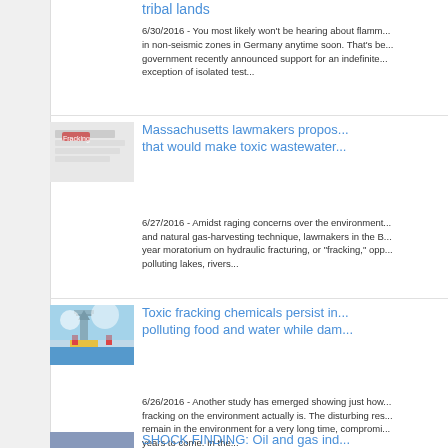tribal lands
6/30/2016 - You most likely won't be hearing about flamm... in non-seismic zones in Germany anytime soon. That's be... government recently announced support for an indefinite... exception of isolated test...
[Figure (photo): Close-up of printed text about fracking with 'Fracking' highlighted in red]
Massachusetts lawmakers propos... that would make toxic wastewater...
6/27/2016 - Amidst raging concerns over the environment... and natural gas-harvesting technique, lawmakers in the B... year moratorium on hydraulic fracturing, or "fracking," opp... polluting lakes, rivers...
[Figure (photo): Oil rig against blue sky with clouds]
Toxic fracking chemicals persist in... polluting food and water while dam...
6/26/2016 - Another study has emerged showing just how... fracking on the environment actually is. The disturbing res... remain in the environment for a very long time, compromi... years to come. In the...
[Figure (photo): Blue image possibly water or sky related to fracking article]
SHOCK FINDING: Oil and gas ind...